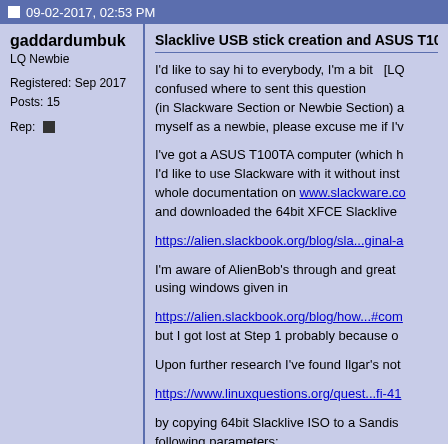09-02-2017, 02:53 PM
gaddardumbuk
LQ Newbie

Registered: Sep 2017
Posts: 15

Rep:
Slacklive USB stick creation and ASUS T100TA U
I'd like to say hi to everybody, I'm a bit [LQ confused where to sent this question (in Slackware Section or Newbie Section) a myself as a newbie, please excuse me if I'v
I've got a ASUS T100TA computer (which h I'd like to use Slackware with it without inst whole documentation on www.slackware.co and downloaded the 64bit XFCE Slacklive
https://alien.slackbook.org/blog/sla...ginal-a
I'm aware of AlienBob's through and great using windows given in
https://alien.slackbook.org/blog/how...#com but I got lost at Step 1 probably because o
Upon further research I've found Ilgar's not
https://www.linuxquestions.org/quest...fi-41
by copying 64bit Slacklive ISO to a Sandis following parameters:
Device-> G:[16GB]
Partition scheme -> MBR partition scheme
File System -> Fat32